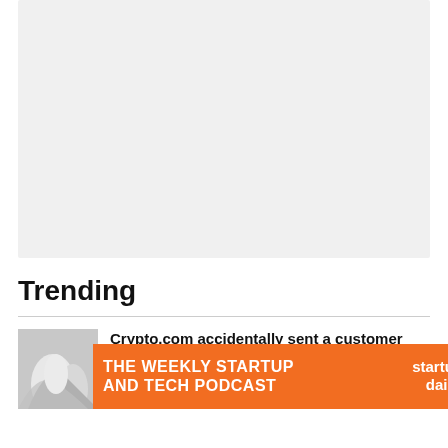[Figure (other): Gray placeholder rectangle representing an image or advertisement area]
Trending
[Figure (photo): Thumbnail photo of an abstract white architectural or sculptural interior]
Crypto.com accidentally sent a customer $10.5m, and by the time they noticed, she'd
[Figure (other): Advertisement banner: THE WEEKLY STARTUP AND TECH PODCAST startup daily.]